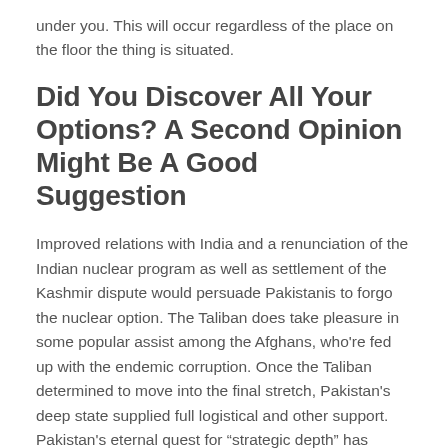under you. This will occur regardless of the place on the floor the thing is situated.
Did You Discover All Your Options? A Second Opinion Might Be A Good Suggestion
Improved relations with India and a renunciation of the Indian nuclear program as well as settlement of the Kashmir dispute would persuade Pakistanis to forgo the nuclear option. The Taliban does take pleasure in some popular assist among the Afghans, who're fed up with the endemic corruption. Once the Taliban determined to move into the final stretch, Pakistan's deep state supplied full logistical and other support. Pakistan's eternal quest for “strategic depth” has saved it allied with the Taliban. The deep state, led by army Chief General Bajwa, has been trying to broker an inclusive transitional government. There is still feverish exercise underway to type a patchwork authorities and Pakistan's